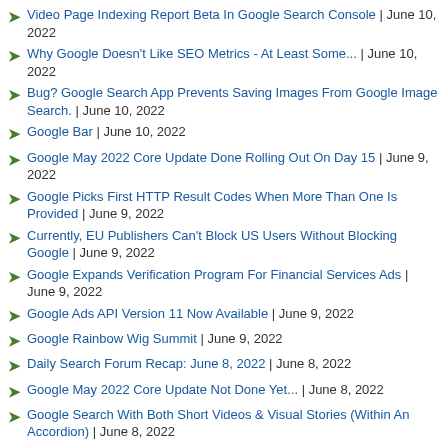Video Page Indexing Report Beta In Google Search Console | June 10, 2022
Why Google Doesn't Like SEO Metrics - At Least Some... | June 10, 2022
Bug? Google Search App Prevents Saving Images From Google Image Search. | June 10, 2022
Google Bar | June 10, 2022
Google May 2022 Core Update Done Rolling Out On Day 15 | June 9, 2022
Google Picks First HTTP Result Codes When More Than One Is Provided | June 9, 2022
Currently, EU Publishers Can't Block US Users Without Blocking Google | June 9, 2022
Google Expands Verification Program For Financial Services Ads | June 9, 2022
Google Ads API Version 11 Now Available | June 9, 2022
Google Rainbow Wig Summit | June 9, 2022
Daily Search Forum Recap: June 8, 2022 | June 8, 2022
Google May 2022 Core Update Not Done Yet... | June 8, 2022
Google Search With Both Short Videos & Visual Stories (Within An Accordion) | June 8, 2022
Bing Adds Visit Site Button To Branded Sidebar Navigation | June 8, 2022
Google: You Can Restrict XML Sitemaps Access To Search Engines | June 8, 2022
Bing Tests Ads Tab Under Search Bar | June 8, 2022
Nail Polish With Google Logo | June 8, 2022